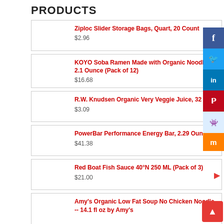PRODUCTS
Ziploc Slider Storage Bags, Quart, 20 Count
$2.96
KOYO Soba Ramen Made with Organic Noodles, 2.1 Ounce (Pack of 12)
$16.68
R.W. Knudsen Organic Very Veggie Juice, 32 oz
$3.09
PowerBar Performance Energy Bar, 2.29 Ounce
$41.38
Red Boat Fish Sauce 40°N 250 ML (Pack of 3)
$21.00
Amy's Organic Low Fat Soup No Chicken Noodle -- 14.1 fl oz by Amy's